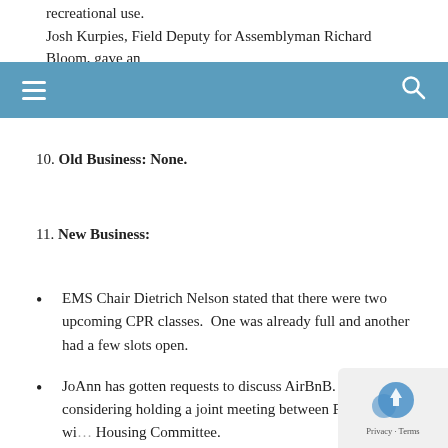recreational use.
Josh Kurpies, Field Deputy for Assemblyman Richard Bloom, gave an update on the State budget and SB900 (the Trailer Bill), which would
10. Old Business: None.
11. New Business:
EMS Chair Dietrich Nelson stated that there were two upcoming CPR classes.  One was already full and another had a few slots open.
JoAnn has gotten requests to discuss AirBnB.  She was considering holding a joint meeting between PLUM and wi... Housing Committee.